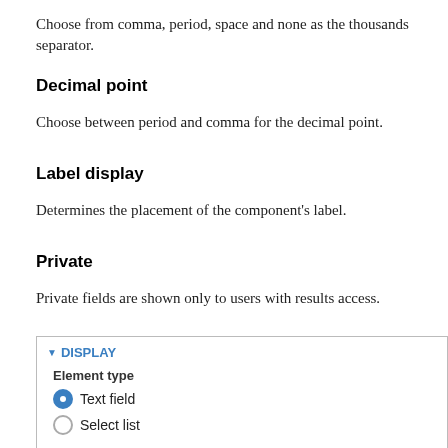Choose from comma, period, space and none as the thousands separator.
Decimal point
Choose between period and comma for the decimal point.
Label display
Determines the placement of the component's label.
Private
Private fields are shown only to users with results access.
[Figure (screenshot): A UI panel labeled DISPLAY showing Element type options: Text field (selected, blue radio) and Select list (unselected). Below is partial text: A minimum and maximum value are required if displaying as a select]
A minimum and maximum value are required if displaying as a select